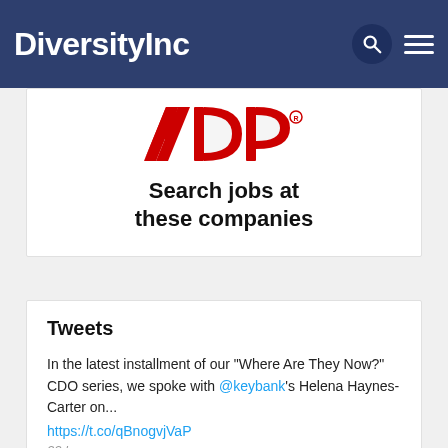DiversityInc
[Figure (logo): ADP logo in red with stylized letters A, D, P and registered trademark symbol]
Search jobs at these companies
Tweets
In the latest installment of our "Where Are They Now?" CDO series, we spoke with @keybank's Helena Haynes-Carter on... https://t.co/qBnogvjVaP
22 hours ago